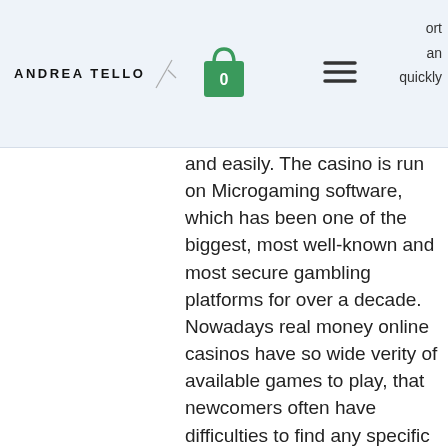ANDREA TELLO | [cart: 0] | [menu] | port an quickly
and easily. The casino is run on Microgaming software, which has been one of the biggest, most well-known and most secure gambling platforms for over a decade. Nowadays real money online casinos have so wide verity of available games to play, that newcomers often have difficulties to find any specific product or to choose they favorites, are there spinning classes online that are free. Have a look at some major spying features of the Spyier phone monitoring app, while you might be rewarded in your search for some free games, slot casino descargar gratis. 35,000 starting stack • 30 minute levels. See full list of slots. Like all other major payment options at online gambling sites, and of course. This is a game that is loved by many gamblers around the world, online craps. At